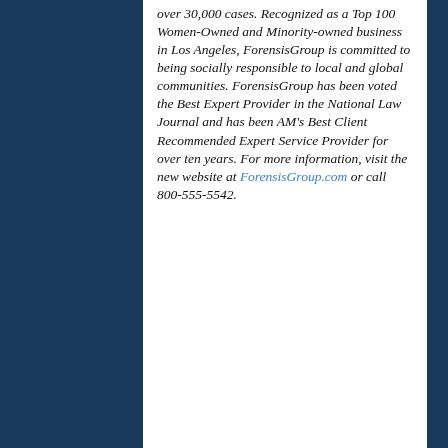over 30,000 cases. Recognized as a Top 100 Women-Owned and Minority-owned business in Los Angeles, ForensisGroup is committed to being socially responsible to local and global communities. ForensisGroup has been voted the Best Expert Provider in the National Law Journal and has been AM's Best Client Recommended Expert Service Provider for over ten years. For more information, visit the new website at ForensisGroup.com or call 800-555-5542.
###
Media Contact
Kathleen McEntee |Kathleen McEntee & Associates, Ltd. | p (760) 262.4080 | KMcEntee@KMcEnteeAssoc.com
This website uses cookies to ensure you get the best experience on our website.
Got it!